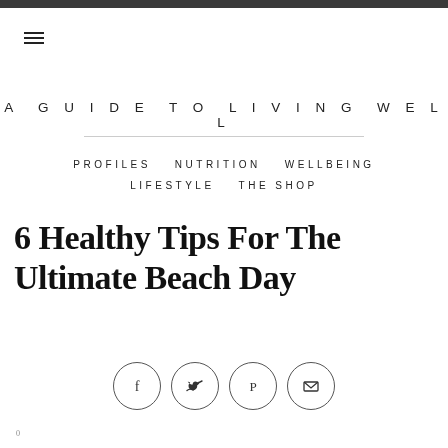A GUIDE TO LIVING WELL
PROFILES  NUTRITION  WELLBEING  LIFESTYLE  THE SHOP
6 Healthy Tips For The Ultimate Beach Day
[Figure (infographic): Row of four social sharing icons: Facebook, Twitter, Pinterest, Email — each in a circle outline]
0